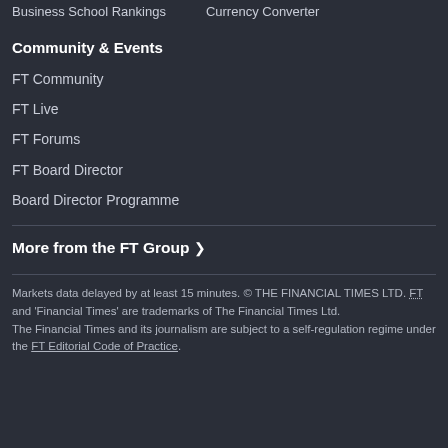Business School Rankings    Currency Converter
Community & Events
FT Community
FT Live
FT Forums
FT Board Director
Board Director Programme
More from the FT Group ›
Markets data delayed by at least 15 minutes. © THE FINANCIAL TIMES LTD. FT and 'Financial Times' are trademarks of The Financial Times Ltd.
The Financial Times and its journalism are subject to a self-regulation regime under the FT Editorial Code of Practice.